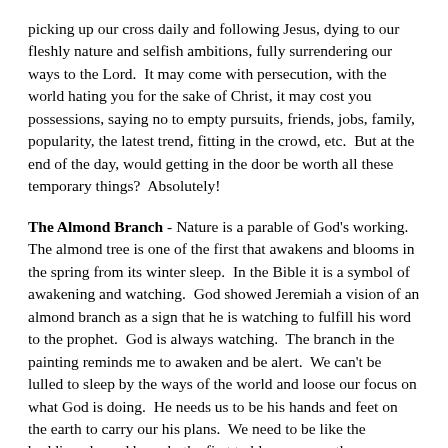picking up our cross daily and following Jesus, dying to our fleshly nature and selfish ambitions, fully surrendering our ways to the Lord.  It may come with persecution, with the world hating you for the sake of Christ, it may cost you possessions, saying no to empty pursuits, friends, jobs, family, popularity, the latest trend, fitting in the crowd, etc.  But at the end of the day, would getting in the door be worth all these temporary things?  Absolutely!
The Almond Branch - Nature is a parable of God's working.  The almond tree is one of the first that awakens and blooms in the spring from its winter sleep.  In the Bible it is a symbol of awakening and watching.  God showed Jeremiah a vision of an almond branch as a sign that he is watching to fulfill his word to the prophet.  God is always watching.  The branch in the painting reminds me to awaken and be alert.  We can't be lulled to sleep by the ways of the world and loose our focus on what God is doing.  He needs us to be his hands and feet on the earth to carry our his plans.  We need to be like the budding almond branch, the first to blossom, so others can see the beauty and